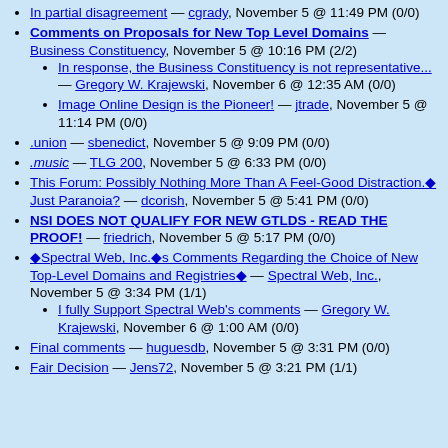In partial disagreement — cgrady, November 5 @ 11:49 PM (0/0)
Comments on Proposals for New Top Level Domains — Business Constituency, November 5 @ 10:16 PM (2/2)
In response, the Business Constituency is not representative... — Gregory W. Krajewski, November 6 @ 12:35 AM (0/0)
Image Online Design is the Pioneer! — jtrade, November 5 @ 11:14 PM (0/0)
.union — sbenedict, November 5 @ 9:09 PM (0/0)
.music — TLG 200, November 5 @ 6:33 PM (0/0)
This Forum: Possibly Nothing More Than A Feel-Good Distraction.◆ Just Paranoia? — dcorish, November 5 @ 5:41 PM (0/0)
NSI DOES NOT QUALIFY FOR NEW GTLDS - READ THE PROOF! — friedrich, November 5 @ 5:17 PM (0/0)
◆Spectral Web, Inc.◆s Comments Regarding the Choice of New Top-Level Domains and Registries◆ — Spectral Web, Inc., November 5 @ 3:34 PM (1/1)
I fully Support Spectral Web's comments — Gregory W. Krajewski, November 6 @ 1:00 AM (0/0)
Final comments — huguesdb, November 5 @ 3:31 PM (0/0)
Fair Decision — Jens72, November 5 @ 3:21 PM (1/1)